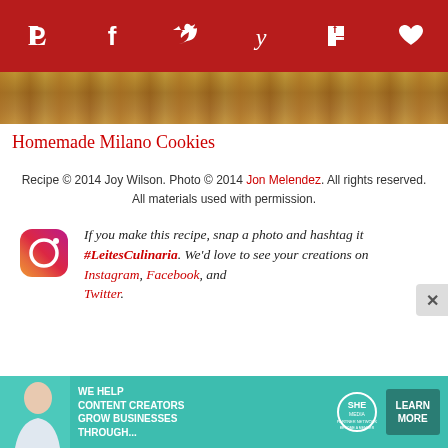[Figure (other): Social sharing bar with Pinterest, Facebook, Twitter, Yummly, Flipboard, and heart/save icons on dark red background]
[Figure (photo): Close-up photo of Homemade Milano Cookies]
Homemade Milano Cookies
Recipe © 2014 Joy Wilson. Photo © 2014 Jon Melendez. All rights reserved. All materials used with permission.
If you make this recipe, snap a photo and hashtag it #LeitesCulinaria. We'd love to see your creations on Instagram, Facebook, and Twitter.
[Figure (logo): Instagram logo icon]
[Figure (infographic): SHE Media Partner Network advertisement banner: We help content creators grow businesses through...]